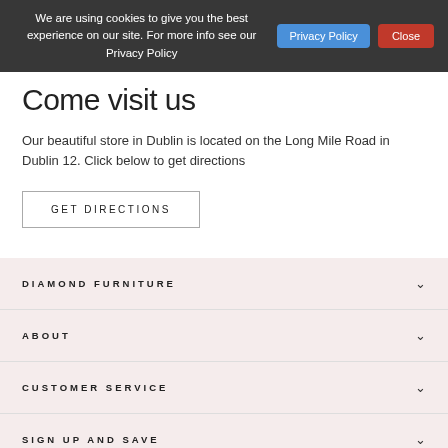We are using cookies to give you the best experience on our site. For more info see our Privacy Policy
Come visit us
Our beautiful store in Dublin is located on the Long Mile Road in Dublin 12. Click below to get directions
GET DIRECTIONS
DIAMOND FURNITURE
ABOUT
CUSTOMER SERVICE
SIGN UP AND SAVE